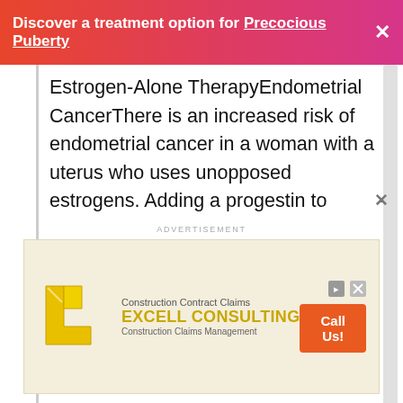Discover a treatment option for Precocious Puberty ×
Estrogen-Alone TherapyEndometrial CancerThere is an increased risk of endometrial cancer in a woman with a uterus who uses unopposed estrogens. Adding a progestin to estrogen therapy has been shown to reduce the risk of endometrial hyperplasia, which may be a precursor to endometrial cancer. Adequate diagnostic measures, including directed or random endometrial sampling when indicated, should be undertaken to rule out malignancy in postmenopausal women with undiagnosed persistent or recurring abnormal genital
ADVERTISEMENT
[Figure (other): Advertisement banner for Excell Consulting - Construction Contract Claims and Construction Claims Management with Call Us! button]